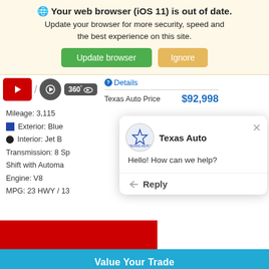Your web browser (iOS 11) is out of date. Update your browser for more security, speed and the best experience on this site.
Update browser | Ignore
[Figure (screenshot): Car listing page with video/360 icons, Details link, Texas Auto Price $92,998, vehicle specs (Mileage: 3,115, Exterior: Blue, Interior: Jet B, Transmission: 8 Sp, Engine: V8, MPG: 23 HWY / 13), chat popup from Texas Auto saying 'Hello! How can we help?', Reply option, Value Your Trade button, credit score row, and chat bubble icon.]
Texas Auto Price
$92,998
Mileage: 3,115
Exterior: Blue
Interior: Jet B
Transmission: 8 Sp
Shift with Automa
Engine: V8
MPG: 23 HWY / 13
Texas Auto
Hello! How can we help?
Reply
Value Your Trade
All with no impact to your credit score